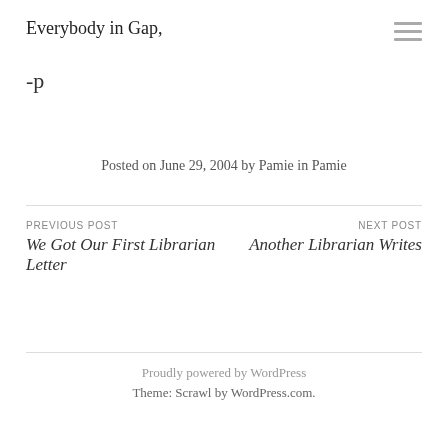Everybody in Gap,
-p
Posted on June 29, 2004 by Pamie in Pamie
PREVIOUS POST
We Got Our First Librarian Letter
NEXT POST
Another Librarian Writes
Proudly powered by WordPress
Theme: Scrawl by WordPress.com.